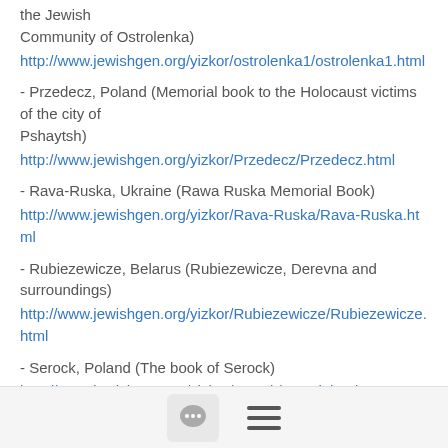the Jewish Community of Ostrolenka)
http://www.jewishgen.org/yizkor/ostrolenka1/ostrolenka1.html
- Przedecz, Poland (Memorial book to the Holocaust victims of the city of Pshaytsh)
http://www.jewishgen.org/yizkor/Przedecz/Przedecz.html
- Rava-Ruska, Ukraine (Rawa Ruska Memorial Book)
http://www.jewishgen.org/yizkor/Rava-Ruska/Rava-Ruska.html
- Rubiezewicze, Belarus (Rubiezewicze, Derevna and surroundings)
http://www.jewishgen.org/yizkor/Rubiezewicze/Rubiezewicze.html
- Serock, Poland (The book of Serock)
http://www.jewishgen.org/yizkor/serock/serock.html
- Sokolka, Poland (Memorial Book of Sokolka)